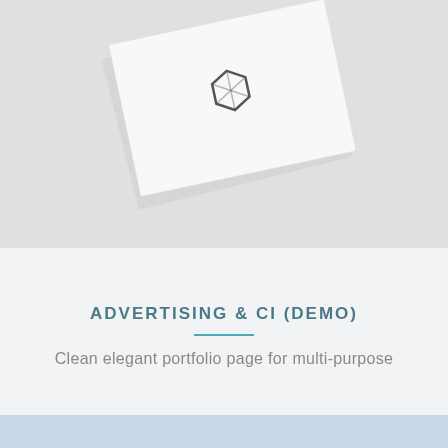[Figure (photo): Business card on light gray background, partially visible with a geometric logo icon]
ADVERTISING & CI (DEMO)
Clean elegant portfolio page for multi-purpose
[Figure (photo): Light blue background with colorful geometric low-poly spheres/orbs in rainbow colors]